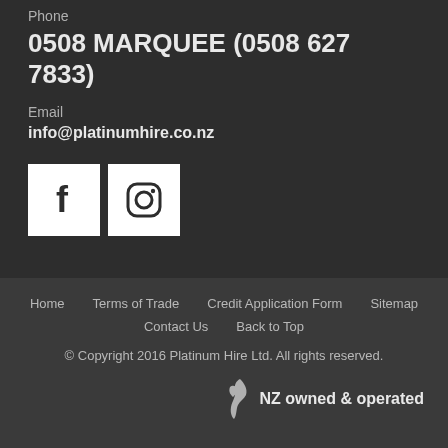Phone
0508 MARQUEE (0508 627 7833)
Email
info@platinumhire.co.nz
[Figure (logo): Facebook and Instagram social media icons in white square boxes]
Home   Terms of Trade   Credit Application Form   Sitemap   Contact Us   Back to Top   © Copyright 2016 Platinum Hire Ltd. All rights reserved.   NZ owned & operated